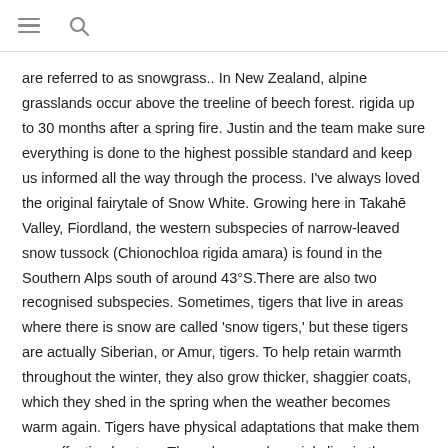≡ 🔍
are referred to as snowgrass.. In New Zealand, alpine grasslands occur above the treeline of beech forest. rigida up to 30 months after a spring fire. Justin and the team make sure everything is done to the highest possible standard and keep us informed all the way through the process. I've always loved the original fairytale of Snow White. Growing here in Takahē Valley, Fiordland, the western subspecies of narrow-leaved snow tussock (Chionochloa rigida amara) is found in the Southern Alps south of around 43°S.There are also two recognised subspecies. Sometimes, tigers that live in areas where there is snow are called 'snow tigers,' but these tigers are actually Siberian, or Amur, tigers. To help retain warmth throughout the winter, they also grow thicker, shaggier coats, which they shed in the spring when the weather becomes warm again. Tigers have physical adaptations that make them very effective hunters. These large owls mainly live in the Arctic in open, treeless areas called tundra. in New Zealand exhibit extreme mast (episodic) seeding which has important implications for plant ecology and plant–insect